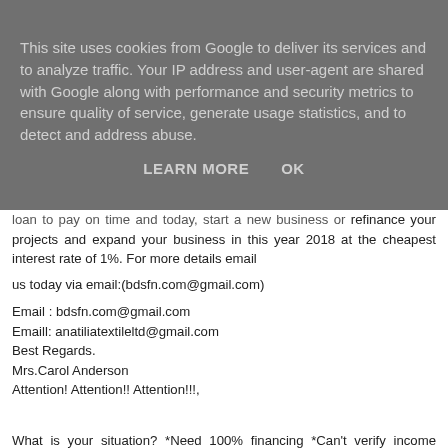This site uses cookies from Google to deliver its services and to analyze traffic. Your IP address and user-agent are shared with Google along with performance and security metrics to ensure quality of service, generate usage statistics, and to detect and address abuse.
LEARN MORE   OK
loan to pay on time and today, start a new business or refinance your projects and expand your business in this year 2018 at the cheapest interest rate of 1%. For more details email us today via email:(bdsfn.com@gmail.com)
Email : bdsfn.com@gmail.com
Emaill: anatiliatextileltd@gmail.com
Best Regards.
Mrs.Carol Anderson
Attention! Attention!! Attention!!!,
What is your situation? *Need 100% financing *Can't verify income *Can't verify employment *Recently self employed *Bankruptcy Collections *Credit issues *Accumulated Bills